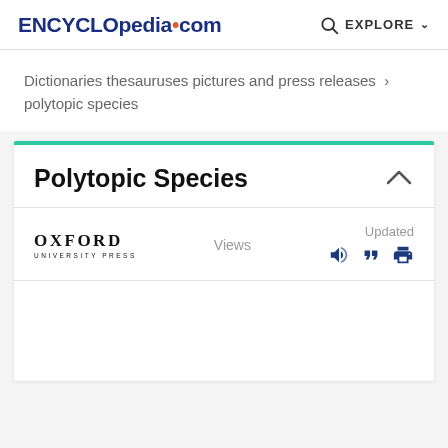ENCYCLopedia•com  EXPLORE
Dictionaries thesauruses pictures and press releases › polytopic species
Polytopic Species
[Figure (logo): Oxford University Press logo]
Views
Updated